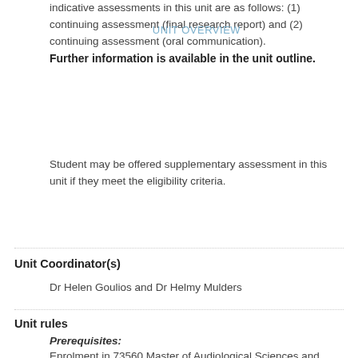indicative assessments in this unit are as follows: (1) continuing assessment (final research report) and (2) continuing assessment (oral communication). Further information is available in the unit outline.
UNIT OVERVIEW
Student may be offered supplementary assessment in this unit if they meet the eligibility criteria.
Unit Coordinator(s)
Dr Helen Goulios and Dr Helmy Mulders
Unit rules
Prerequisites: Enrolment in 73560 Master of Audiological Sciences and Successful completion of 48 points in your chosen degree
Co-requisites: Nil